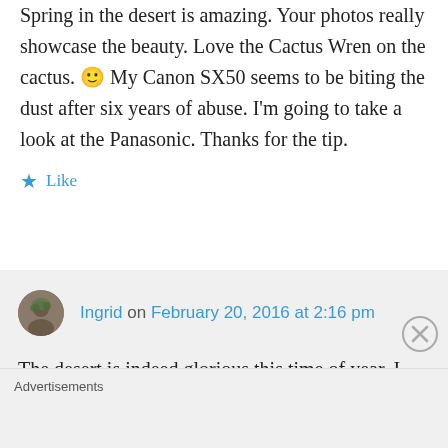Spring in the desert is amazing. Your photos really showcase the beauty. Love the Cactus Wren on the cactus. 🙂 My Canon SX50 seems to be biting the dust after six years of abuse. I'm going to take a look at the Panasonic. Thanks for the tip.
★ Like
Ingrid on February 20, 2016 at 2:16 pm
The desert is indeed glorious this time of year. I have the next six – eight weeks to capture her glory. My current Panasonic
Advertisements